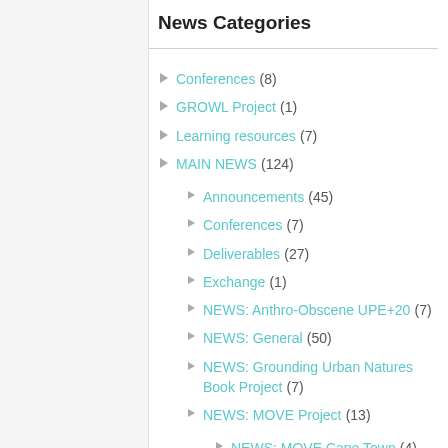News Categories
Conferences (8)
GROWL Project (1)
Learning resources (7)
MAIN NEWS (124)
Announcements (45)
Conferences (7)
Deliverables (27)
Exchange (1)
NEWS: Anthro-Obscene UPE+20 (7)
NEWS: General (50)
NEWS: Grounding Urban Natures Book Project (7)
NEWS: MOVE Project (13)
NEWS: MOVE Cape Town (4)
NEWS: MOVE Cape Town CIVNET Study (8)
NEWS: MOVE New Orleans (3)